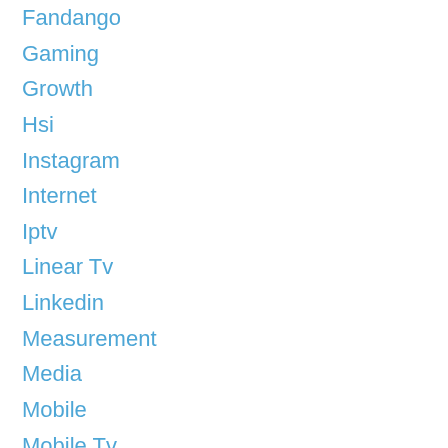Fandango
Gaming
Growth
Hsi
Instagram
Internet
Iptv
Linear Tv
Linkedin
Measurement
Media
Mobile
Mobile Tv
Multi Screen
Multi-Screen
Nbc
Ncc
Networks
Nielsen
Online Video
Ott